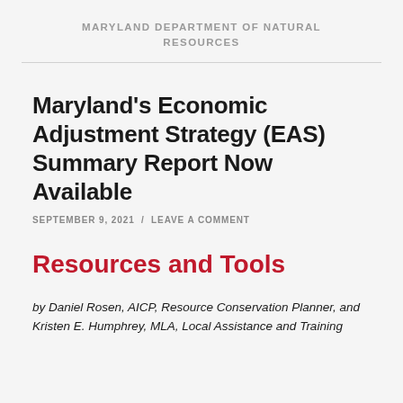MARYLAND DEPARTMENT OF NATURAL RESOURCES
Maryland's Economic Adjustment Strategy (EAS) Summary Report Now Available
SEPTEMBER 9, 2021  /  LEAVE A COMMENT
Resources and Tools
by Daniel Rosen, AICP, Resource Conservation Planner, and Kristen E. Humphrey, MLA, Local Assistance and Training